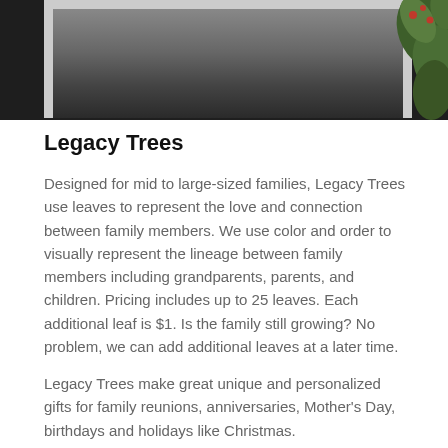[Figure (photo): Framed artwork or print on a dark table surface, with evergreen/pine greenery decoration visible on the right side. The frame appears white/light colored.]
Legacy Trees
Designed for mid to large-sized families, Legacy Trees use leaves to represent the love and connection between family members. We use color and order to visually represent the lineage between family members including grandparents, parents, and children. Pricing includes up to 25 leaves. Each additional leaf is $1. Is the family still growing? No problem, we can add additional leaves at a later time.
Legacy Trees make great unique and personalized gifts for family reunions, anniversaries, Mother's Day, birthdays and holidays like Christmas.